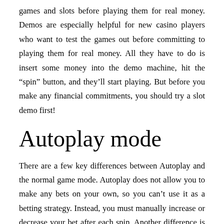games and slots before playing them for real money. Demos are especially helpful for new casino players who want to test the games out before committing to playing them for real money. All they have to do is insert some money into the demo machine, hit the “spin” button, and they’ll start playing. But before you make any financial commitments, you should try a slot demo first!
Autoplay mode
There are a few key differences between Autoplay and the normal game mode. Autoplay does not allow you to make any bets on your own, so you can’t use it as a betting strategy. Instead, you must manually increase or decrease your bet after each spin. Another difference is that autospins aren’t free; they will deduct your bankroll. Also, autoplay stops once the player reaches a bonus round.